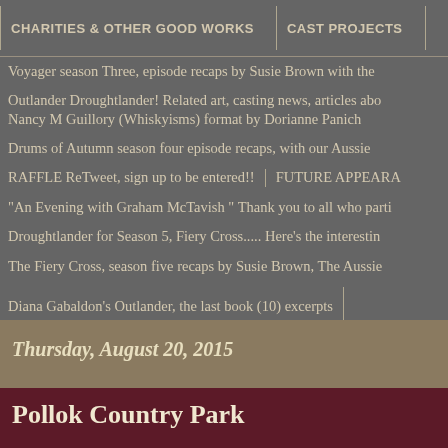CHARITIES & OTHER GOOD WORKS | CAST PROJECTS
Voyager season Three, episode recaps by Susie Brown with the
Outlander Droughtlander! Related art, casting news, articles abo... Nancy M Guillory (Whiskyisms) format by Dorianne Panich
Drums of Autumn season four episode recaps, with our Aussie
RAFFLE ReTweet, sign up to be entered!! | FUTURE APPEARA
"An Evening with Graham McTavish " Thank you to all who parti
Droughtlander for Season 5, Fiery Cross..... Here's the interestin
The Fiery Cross, season five recaps by Susie Brown, The Aussie
Diana Gabaldon's Outlander, the last book (10) excerpts
Thursday, August 20, 2015
Pollok Country Park